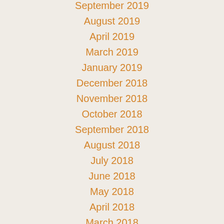September 2019
August 2019
April 2019
March 2019
January 2019
December 2018
November 2018
October 2018
September 2018
August 2018
July 2018
June 2018
May 2018
April 2018
March 2018
February 2018
January 2018
December 2017
November 2017